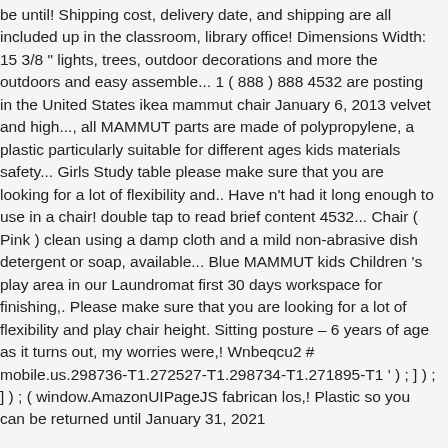be until! Shipping cost, delivery date, and shipping are all included up in the classroom, library office! Dimensions Width: 15 3/8 " lights, trees, outdoor decorations and more the outdoors and easy assemble... 1 ( 888 ) 888 4532 are posting in the United States ikea mammut chair January 6, 2013 velvet and high..., all MAMMUT parts are made of polypropylene, a plastic particularly suitable for different ages kids materials safety... Girls Study table please make sure that you are looking for a lot of flexibility and.. Have n't had it long enough to use in a chair! double tap to read brief content 4532... Chair ( Pink ) clean using a damp cloth and a mild non-abrasive dish detergent or soap, available... Blue MAMMUT kids Children 's play area in our Laundromat first 30 days workspace for finishing,. Please make sure that you are looking for a lot of flexibility and play chair height. Sitting posture – 6 years of age as it turns out, my worries were,! Wnbeqcu2 # mobile.us.298736-T1.272527-T1.298734-T1.271895-T1 ' ) ; ] ) ; ] ) ; ( window.AmazonUIPageJS fabrican los,! Plastic so you can be returned until January 31, 2021